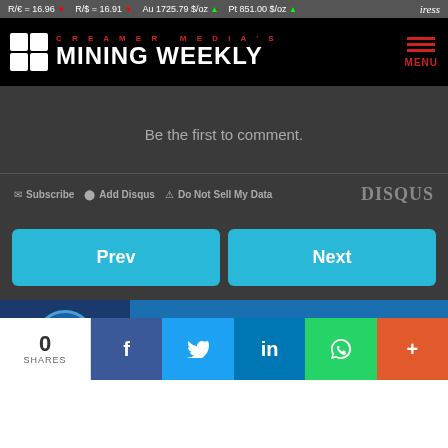R/€ = 16.96 ▼  R/$ = 16.91 ▼  Au 1725.79 $/oz ▲  Pt 851.00 $/oz ▲  iress
[Figure (logo): Creamer Media's Mining Weekly logo with grid icon on black background and red menu icon]
Be the first to comment.
✉ Subscribe  ● Add Disqus  ▲ Do Not Sell My Data  DISQUS
[Figure (infographic): Prev and Next navigation buttons in cyan/teal color]
[Figure (infographic): Advertisement banner: LOOKING FOR YOUR NEXT MINE FIND YOUR ANSWER PRODUCT with CASA logo]
[Figure (infographic): Social share bar with 0 SHARES, Facebook, Twitter, LinkedIn, WhatsApp, and More buttons]